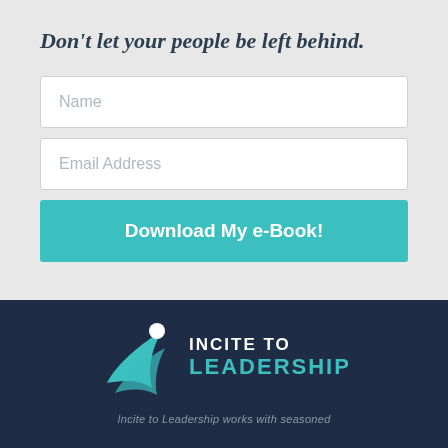Don't let your people be left behind.
[Figure (infographic): Web form with Name field, Email Address field, and a teal Download My e-Book! button]
[Figure (logo): Incite to Leadership logo — teal swoosh/figure mark with white circle, white text INCITE TO and teal text LEADERSHIP on dark navy background]
Incite to Leadership works with seasoned